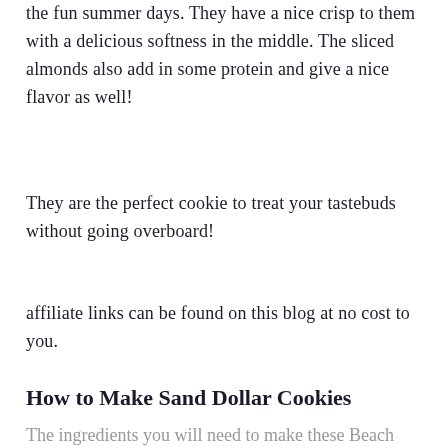the fun summer days. They have a nice crisp to them with a delicious softness in the middle. The sliced almonds also add in some protein and give a nice flavor as well!
They are the perfect cookie to treat your tastebuds without going overboard!
affiliate links can be found on this blog at no cost to you.
How to Make Sand Dollar Cookies
The ingredients you will need to make these Beach